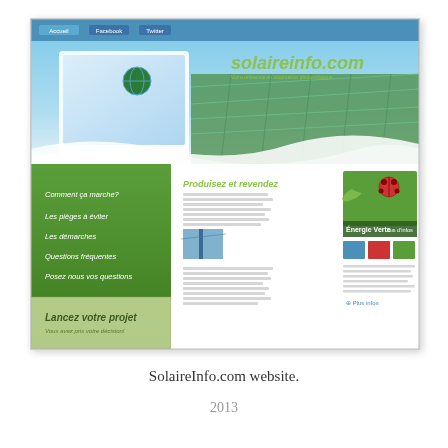[Figure (screenshot): Screenshot of SolaireInfo.com website showing a solar energy information website with blue and green design, navigation bar, logo, solar panel images, green sidebar menu with French navigation items (Comment ça marche?, Les pièges à éviter, Les démarches, Questions fréquentes, Posez nous vos questions), main content area with 'Produisez et revendez' section, 'Énergie Verte' sidebar, and 'Lancez votre projet' call-to-action section at bottom.]
SolaireInfo.com website.
2013